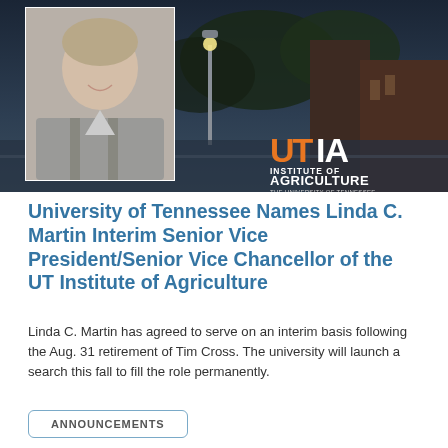[Figure (photo): Header image showing a woman in a gray jacket (headshot on left) over a dark campus building background at dusk, with the UTIA Institute of Agriculture, The University of Tennessee, Real. Life. Solutions. logo in the bottom right corner.]
University of Tennessee Names Linda C. Martin Interim Senior Vice President/Senior Vice Chancellor of the UT Institute of Agriculture
Linda C. Martin has agreed to serve on an interim basis following the Aug. 31 retirement of Tim Cross. The university will launch a search this fall to fill the role permanently.
ANNOUNCEMENTS